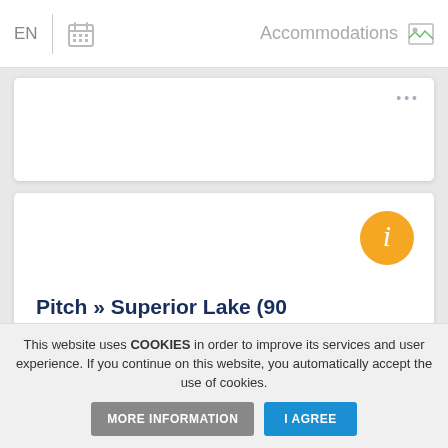EN  Accommodations
[Figure (screenshot): Partial accommodation card showing three dots menu icon]
[Figure (infographic): Orange circular info button (i icon) on accommodation card]
Pitch » Superior Lake (90 Sqm)
max 6 people
Pets allowed
This website uses COOKIES in order to improve its services and user experience. If you continue on this website, you automatically accept the use of cookies.
MORE INFORMATION
I AGREE